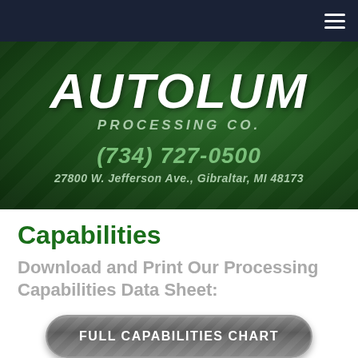Autolum Processing Co. — Navigation bar
[Figure (logo): Autolum Processing Co. logo on dark green banner background with phone number (734) 727-0500 and address 27800 W. Jefferson Ave., Gibraltar, MI 48173]
Capabilities
Download and Print Our Processing Capabilities Data Sheet:
[Figure (other): Gray rounded button labeled FULL CAPABILITIES CHART]